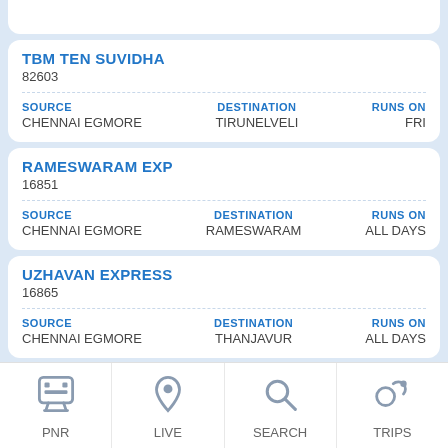TBM TEN SUVIDHA
82603
| SOURCE | DESTINATION | RUNS ON |
| --- | --- | --- |
| CHENNAI EGMORE | TIRUNELVELI | FRI |
RAMESWARAM EXP
16851
| SOURCE | DESTINATION | RUNS ON |
| --- | --- | --- |
| CHENNAI EGMORE | RAMESWARAM | ALL DAYS |
UZHAVAN EXPRESS
16865
| SOURCE | DESTINATION | RUNS ON |
| --- | --- | --- |
| CHENNAI EGMORE | THANJAVUR | ALL DAYS |
TRICHY EXPRESS
167...
PNR  LIVE  SEARCH  TRIPS